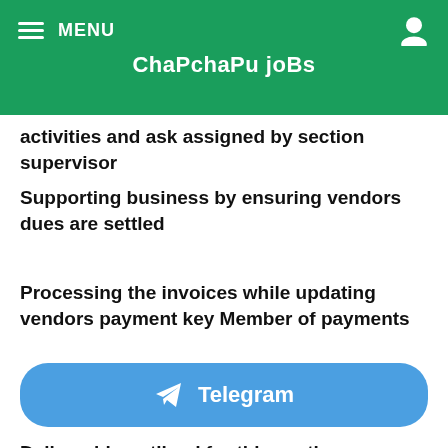MENU  ChaPchaPu joBs
activities and ask assigned by section supervisor
Supporting business by ensuring vendors dues are settled
Processing the invoices while updating vendors payment key Member of payments
[Figure (other): Telegram button with paper plane icon]
Deliverable outlined for this section including timely closure of Ap month and activities as well as